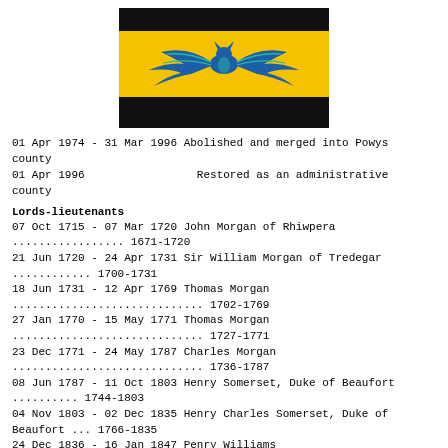[Figure (illustration): A flag with black stripes at top and bottom, a wide yellow/gold central band, and a thin black stripe near top and bottom of the gold band, with a blue bat emblem in the center.]
01 Apr 1974 - 31 Mar 1996 Abolished and merged into Powys county
01 Apr 1996                 Restored as an administrative county
Lords-lieutenants
07 Oct 1715 - 07 Mar 1720 John Morgan of Rhiwpera
................. 1671-1720
21 Jun 1720 - 24 Apr 1731 Sir William Morgan of Tredegar
............ 1700-1731
18 Jun 1731 - 12 Apr 1769 Thomas Morgan
............................. 1702-1769
27 Jan 1770 - 15 May 1771 Thomas Morgan
............................. 1727-1771
23 Dec 1771 - 24 May 1787 Charles Morgan
............................. 1736-1787
08 Jun 1787 - 11 Oct 1803 Henry Somerset, Duke of Beaufort
.......... 1744-1803
04 Nov 1803 - 02 Dec 1835 Henry Charles Somerset, Duke of Beaufort ... 1766-1835
24 Dec 1836 - 16 Jan 1847 Penry Williams
17 Feb 1847 - 28 Sep 1865 John Lloyd Vaughan Watkins